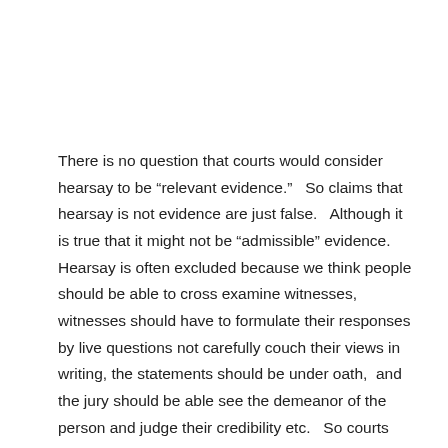There is no question that courts would consider hearsay to be “relevant evidence.”   So claims that hearsay is not evidence are just false.   Although it is true that it might not be “admissible” evidence.  Hearsay is often excluded because we think people should be able to cross examine witnesses, witnesses should have to formulate their responses by live questions not carefully couch their views in writing, the statements should be under oath,  and the jury should be able see the demeanor of the person and judge their credibility etc.   So courts don’t allow hearsay evidence because they want trials to rely on the best evidence not because they don’t think hearsay is evidence.  The courts want the best evidence if they can require it.  So they do.    But there is no question that hearsay can be “relevant evidence” in that if fits